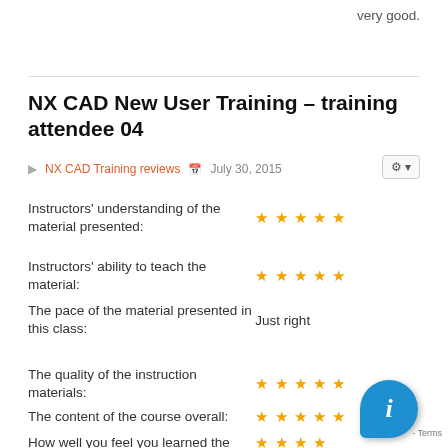very good.
NX CAD New User Training – training attendee 04
NX CAD Training reviews  July 30, 2015
Instructors' understanding of the material presented:  ★★★★★
Instructors' ability to teach the material:  ★★★★★
The pace of the material presented in this class:  Just right
The quality of the instruction materials:  ★★★★★
The content of the course overall:  ★★★★★
How well you feel you learned the